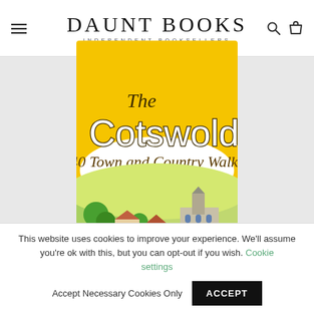DAUNT BOOKS INDEPENDENT BOOKSELLERS
[Figure (illustration): Book cover for 'The Cotswolds: 40 Town and Country Walks' — yellow background with illustrated text and a countryside scene showing hills, trees, houses with red roofs, and a stone church.]
This website uses cookies to improve your experience. We'll assume you're ok with this, but you can opt-out if you wish. Cookie settings  Accept Necessary Cookies Only  ACCEPT